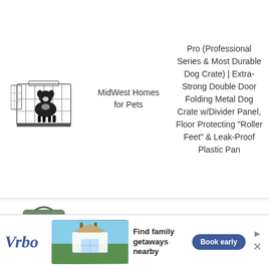[Figure (photo): Metal wire dog crate with a black and white border collie sitting inside, door open on the left side]
MidWest Homes for Pets
Pro (Professional Series & Most Durable Dog Crate) | Extra-Strong Double Door Folding Metal Dog Crate w/Divider Panel, Floor Protecting "Roller Feet" & Leak-Proof Plastic Pan
[Figure (photo): Soft-sided pet carrier/crate in gray-green fabric with mesh panels and a handle on top]
Go Pet Club
Go Pet Club Dog Pet Soft Crate, 28 Inch
[Figure (screenshot): Vrbo advertisement banner: 'Find family getaways nearby' with Book early button and vacation rental photo]